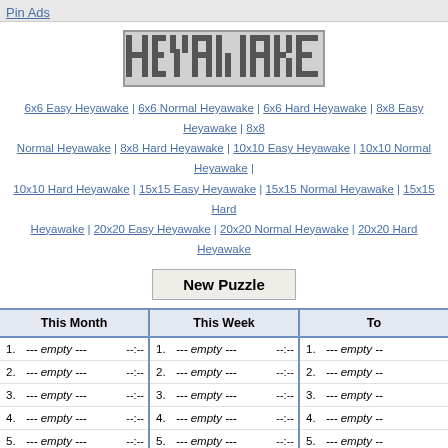Pin Ads
[Figure (other): Heyawake pixel-art logo grid showing the word HEYAWAKE in dark squares on a crossword-style grid]
6x6 Easy Heyawake | 6x6 Normal Heyawake | 6x6 Hard Heyawake | 8x8 Easy Heyawake | 8x8 Normal Heyawake | 8x8 Hard Heyawake | 10x10 Easy Heyawake | 10x10 Normal Heyawake | 10x10 Hard Heyawake | 15x15 Easy Heyawake | 15x15 Normal Heyawake | 15x15 Hard Heyawake | 20x20 Easy Heyawake | 20x20 Normal Heyawake | 20x20 Hard Heyawake
New Puzzle
| This Month |  | This Week |  | To... |
| --- | --- | --- | --- | --- |
| 1. | --- empty --- | --:-- | 1. | --- empty --- | --:-- | 1. | --- empty -- |
| 2. | --- empty --- | --:-- | 2. | --- empty --- | --:-- | 2. | --- empty -- |
| 3. | --- empty --- | --:-- | 3. | --- empty --- | --:-- | 3. | --- empty -- |
| 4. | --- empty --- | --:-- | 4. | --- empty --- | --:-- | 4. | --- empty -- |
| 5. | --- empty --- | --:-- | 5. | --- empty --- | --:-- | 5. | --- empty -- |
| 6. | --- empty --- | --:-- | 6. | --- empty --- | --:-- | 6. | --- empty -- |
| 7. | --- empty --- | --:-- | 7. | --- empty --- | --:-- | 7. | --- empty -- |